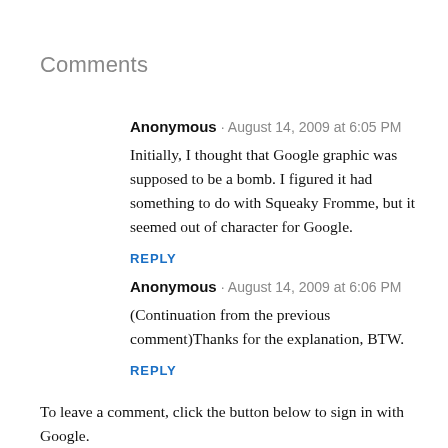Comments
Anonymous · August 14, 2009 at 6:05 PM
Initially, I thought that Google graphic was supposed to be a bomb. I figured it had something to do with Squeaky Fromme, but it seemed out of character for Google.
REPLY
Anonymous · August 14, 2009 at 6:06 PM
(Continuation from the previous comment)Thanks for the explanation, BTW.
REPLY
To leave a comment, click the button below to sign in with Google.